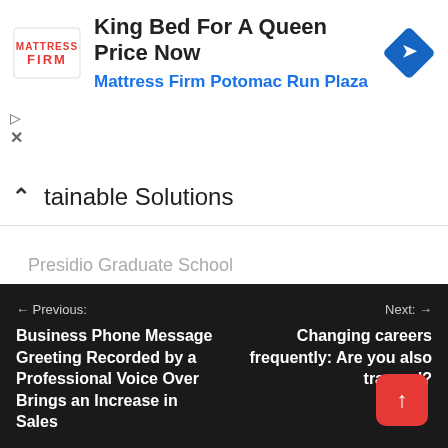[Figure (screenshot): Mattress Firm advertisement banner with logo, text 'King Bed For A Queen Price Now' and 'Mattress Firm Potomac Run Plaza', and a blue navigation icon]
tainable Solutions
Presidio Graduate School
Learn More
← Previous: Business Phone Message Greeting Recorded by a Professional Voice Over Brings an Increase in Sales     Next: → Changing careers frequently: Are you also trapped?